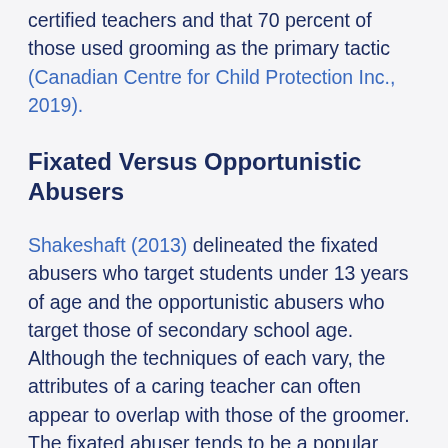certified teachers and that 70 percent of those used grooming as the primary tactic (Canadian Centre for Child Protection Inc., 2019).
Fixated Versus Opportunistic Abusers
Shakeshaft (2013) delineated the fixated abusers who target students under 13 years of age and the opportunistic abusers who target those of secondary school age. Although the techniques of each vary, the attributes of a caring teacher can often appear to overlap with those of the groomer. The fixated abuser tends to be a popular male teacher often highly regarded by the school and in the community. They are more